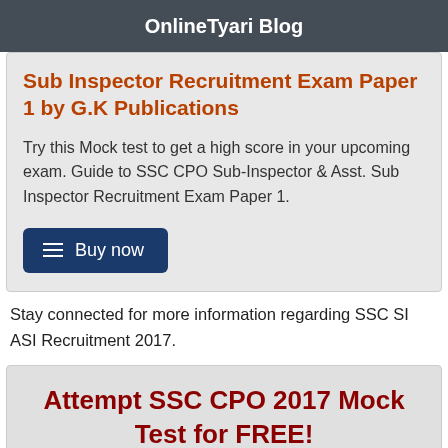OnlineTyari Blog
Sub Inspector Recruitment Exam Paper 1 by G.K Publications
Try this Mock test to get a high score in your upcoming exam. Guide to SSC CPO Sub-Inspector & Asst. Sub Inspector Recruitment Exam Paper 1.
Buy now
Stay connected for more information regarding SSC SI ASI Recruitment 2017.
Attempt SSC CPO 2017 Mock Test for FREE!